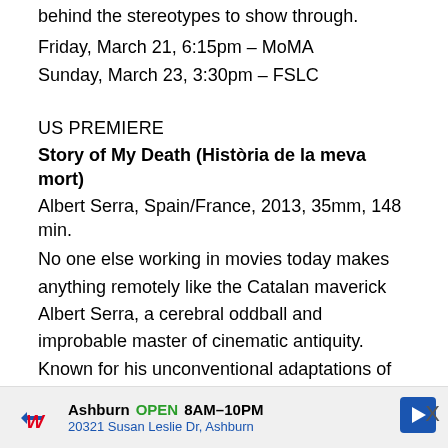behind the stereotypes to show through.
Friday, March 21, 6:15pm – MoMA
Sunday, March 23, 3:30pm – FSLC
US PREMIERE
Story of My Death (Història de la meva mort)
Albert Serra, Spain/France, 2013, 35mm, 148 min.
No one else working in movies today makes anything remotely like the Catalan maverick Albert Serra, a cerebral oddball and improbable master of cinematic antiquity. Known for his unconventional adaptations of Cervantes's Don Quixote (Honor of the Knights) and the Biblical parable of the Three Kings (Birdsong), Serra here stages the 18th-century passage from rationalism to romanticism as a tussle between two figures of legend, Casanova and Dracula. Against a backdrop of candlelit conversation and
[Figure (other): Walgreens advertisement banner showing logo, store location in Ashburn, open hours 8AM-10PM, and address 20321 Susan Leslie Dr, Ashburn]